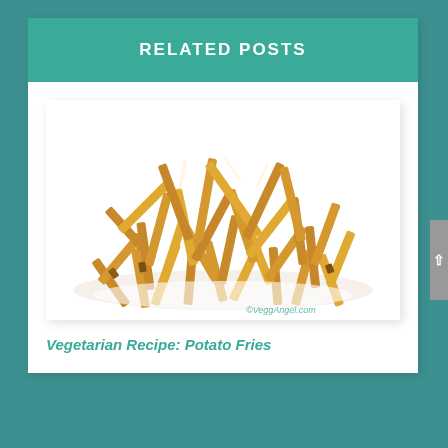RELATED POSTS
[Figure (photo): A pile of golden crispy french fries on a white background with watermark '©VeggAngel.com']
Vegetarian Recipe: Potato Fries